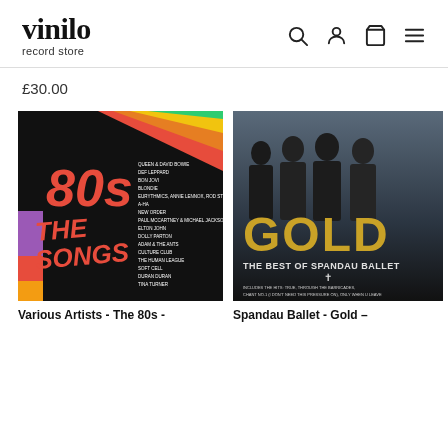vinilo record store
£30.00
[Figure (photo): Album cover for 'Various Artists – The 80s – The Songs', featuring large orange/red '80s THE SONGS' text on a dark background with artist list.]
[Figure (photo): Album cover for 'Spandau Ballet – Gold – The Best of Spandau Ballet', showing four band members in dark clothing with gold text.]
Various Artists - The 80s -
Spandau Ballet - Gold –